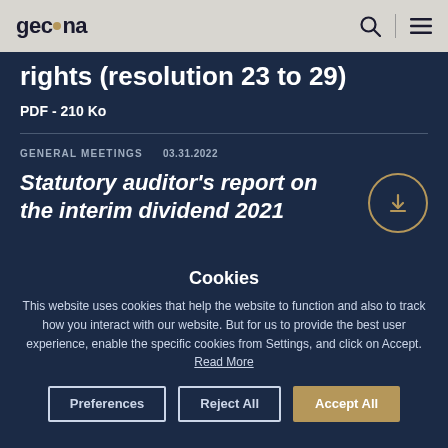gecina
rights (resolution 23 to 29)
PDF - 210 Ko
GENERAL MEETINGS   03.31.2022
Statutory auditor’s report on the interim dividend 2021
Cookies
This website uses cookies that help the website to function and also to track how you interact with our website. But for us to provide the best user experience, enable the specific cookies from Settings, and click on Accept. Read More
Preferences
Reject All
Accept All